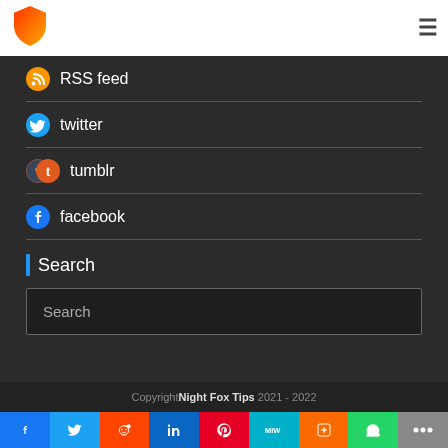[Figure (logo): Night Fox Tips shield logo - orange/red gradient shield on white header bar]
RSS feed
twitter
tumblr
facebook
Search
Search (input box placeholder)
Copyright Night Fox Tips 2021 - 2022
[Figure (infographic): Social share bar with icons: Facebook, Twitter, Reddit, LinkedIn, Pinterest, MeWe, Mix, WhatsApp, More]